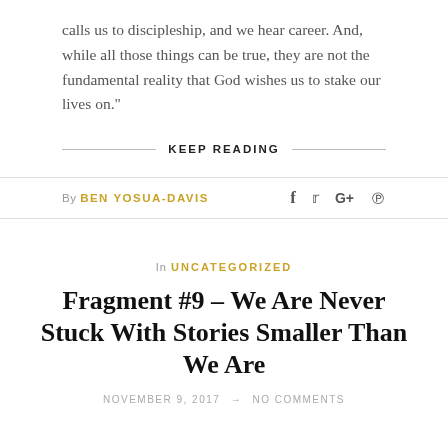calls us to discipleship, and we hear career. And, while all those things can be true, they are not the fundamental reality that God wishes us to stake our lives on."
KEEP READING
By BEN YOSUA-DAVIS
In UNCATEGORIZED
Fragment #9 – We Are Never Stuck With Stories Smaller Than We Are
NOVEMBER 9, 2017 → NO COMMENTS